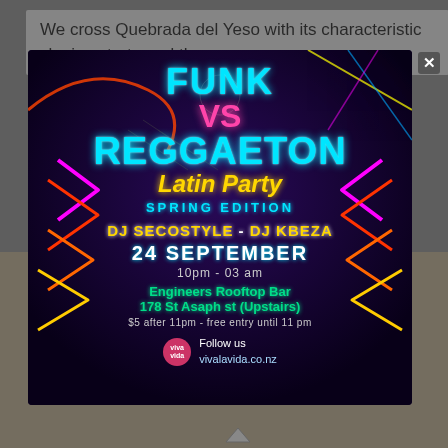We cross Quebrada del Yeso with its characteristic sloping strata and the
[Figure (infographic): Event flyer popup for 'Funk VS Reggaeton Latin Party Spring Edition' featuring DJs Secostyle and Kbeza on 24 September, 10pm - 03am at Engineers Rooftop Bar, 178 St Asaph st (Upstairs). $5 after 11pm - free entry until 11pm. Follow us vivalavida.co.nz. Neon colored design on dark purple/black background with arrow/lightning decorations. Close (X) button in top right corner.]
[Figure (photo): Bottom portion of page showing cables on a brown/tan surface background with a blue navigation bar element visible]